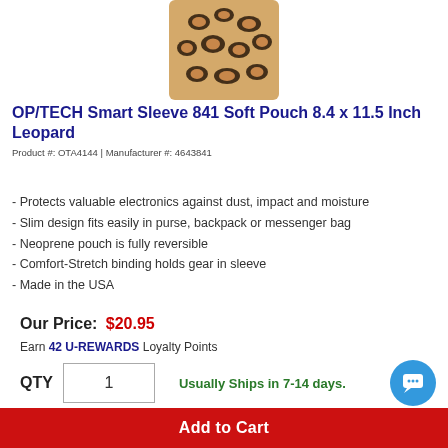[Figure (photo): Leopard print neoprene soft pouch product photo]
OP/TECH Smart Sleeve 841 Soft Pouch 8.4 x 11.5 Inch Leopard
Product #: OTA4144 | Manufacturer #: 4643841
- Protects valuable electronics against dust, impact and moisture
- Slim design fits easily in purse, backpack or messenger bag
- Neoprene pouch is fully reversible
- Comfort-Stretch binding holds gear in sleeve
- Made in the USA
Our Price: $20.95
Earn 42 U-REWARDS Loyalty Points
QTY 1  Usually Ships in 7-14 days.
X  Pickup unavailable at Fairfield, NJ
Add to Cart